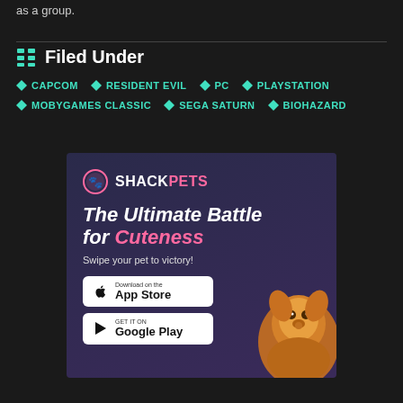as a group.
Filed Under
CAPCOM
RESIDENT EVIL
PC
PLAYSTATION
MOBYGAMES CLASSIC
SEGA SATURN
BIOHAZARD
[Figure (illustration): ShackPets advertisement banner. Logo with paw icon, headline 'The Ultimate Battle for Cuteness', subtext 'Swipe your pet to victory!', App Store and Google Play download buttons, and a Pomeranian dog photo.]